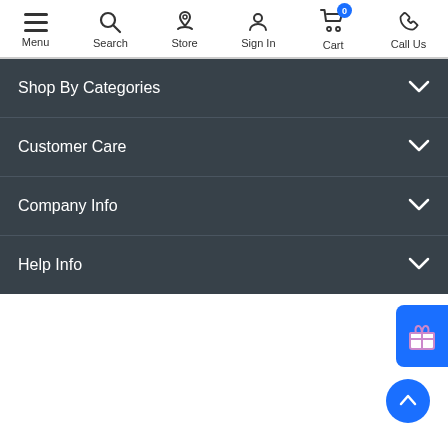[Figure (screenshot): Website navigation bar with icons for Menu, Search, Store, Sign In, Cart (badge showing 0), and Call Us]
Shop By Categories
Customer Care
Company Info
Help Info
[Figure (other): Blue gift/rewards floating button on the right side]
[Figure (other): Blue back-to-top chevron button at bottom right]